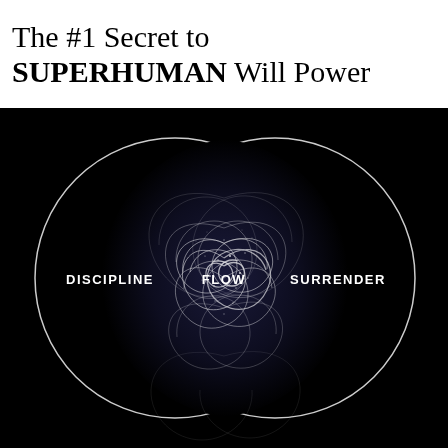The #1 Secret to SUPERHUMAN Will Power
[Figure (infographic): Venn diagram on black background with two overlapping circles. Left circle labeled DISCIPLINE, right circle labeled SURRENDER, overlapping intersection labeled FLOW with a swirling galaxy/vortex visual effect in the center intersection.]